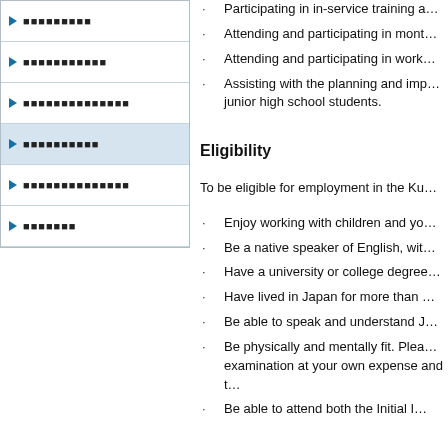Participating in in-service training a…
Attending and participating in mont…
Attending and participating in work…
Assisting with the planning and imp… junior high school students.
Eligibility
To be eligible for employment in the Ku…
Enjoy working with children and yo…
Be a native speaker of English, wit…
Have a university or college degree…
Have lived in Japan for more than …
Be able to speak and understand J…
Be physically and mentally fit.  Plea… examination at your own expense and t…
Be able to attend both the Initial I…